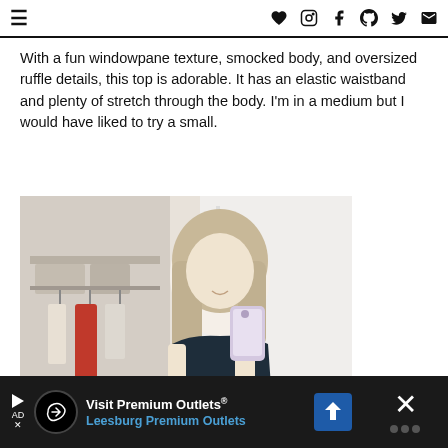≡ ♥ ○ f ⊕ 𝕏 ✉
With a fun windowpane texture, smocked body, and oversized ruffle details, this top is adorable. It has an elastic waistband and plenty of stretch through the body. I'm in a medium but I would have liked to try a small.
[Figure (photo): Woman taking a mirror selfie wearing a dark navy smocked top with ruffle details and white jeans, standing in front of a closet.]
[Figure (other): Advertisement bar: Visit Premium Outlets® Leesburg Premium Outlets with logo and navigation arrow, plus close button.]